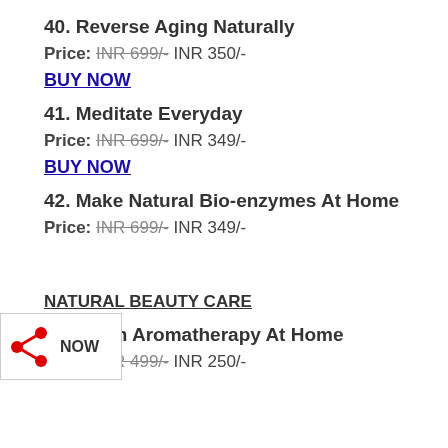40. Reverse Aging Naturally
Price: INR 699/- INR 350/-
BUY NOW
41. Meditate Everyday
Price: INR 699/- INR 349/-
BUY NOW
42. Make Natural Bio-enzymes At Home
Price: INR 699/- INR 349/-
BUY NOW
NATURAL BEAUTY CARE
43. Learn Aromatherapy At Home
Price: INR 499/- INR 250/-